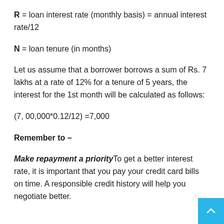R = loan interest rate (monthly basis) = annual interest rate/12
N = loan tenure (in months)
Let us assume that a borrower borrows a sum of Rs. 7 lakhs at a rate of 12% for a tenure of 5 years, the interest for the 1st month will be calculated as follows:
Remember to –
Make repayment a priority To get a better interest rate, it is important that you pay your credit card bills on time. A responsible credit history will help you negotiate better.